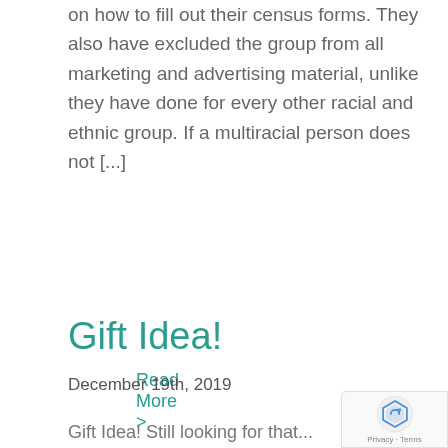on how to fill out their census forms. They also have excluded the group from all marketing and advertising material, unlike they have done for every other racial and ethnic group. If a multiracial person does not [...]
Read More >
Gift Idea!
December 19th, 2019
Gift Idea! Still looking for that...